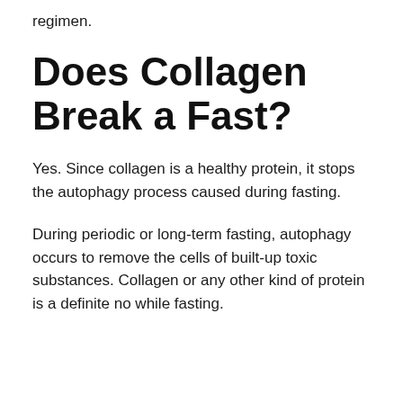regimen.
Does Collagen Break a Fast?
Yes. Since collagen is a healthy protein, it stops the autophagy process caused during fasting.
During periodic or long-term fasting, autophagy occurs to remove the cells of built-up toxic substances. Collagen or any other kind of protein is a definite no while fasting.